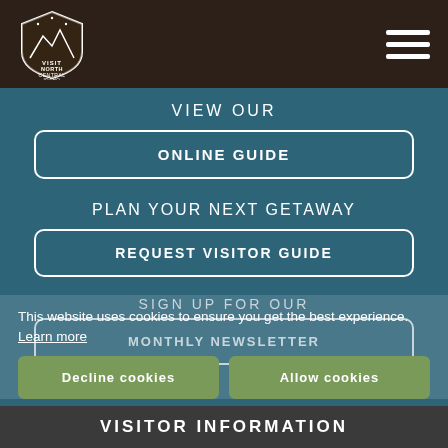[Figure (logo): Visit North Central Idaho badge/shield logo in white on dark brown header]
VIEW OUR
ONLINE GUIDE
PLAN YOUR NEXT GETAWAY
REQUEST VISITOR GUIDE
This website uses cookies to ensure you get the best experience. Learn more
Decline cookies
Allow cookies
SIGN UP FOR OUR
MONTHLY NEWSLETTER
VISITOR INFORMATION